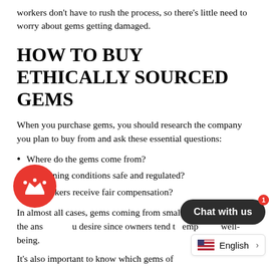workers don't have to rush the process, so there's little need to worry about gems getting damaged.
HOW TO BUY ETHICALLY SOURCED GEMS
When you purchase gems, you should research the company you plan to buy from and ask these essential questions:
Where do the gems come from?
Are mining conditions safe and regulated?
Do workers receive fair compensation?
In almost all cases, gems coming from small mines will have the answers you desire since owners tend to emphasize employee well-being.
It's also important to know which gems of